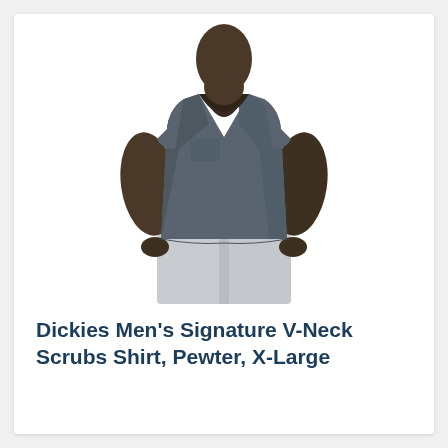[Figure (photo): A man wearing a short-sleeve V-neck scrubs shirt in pewter (dark grey) color with light grey pants. The photo is cropped at the neck/chin and mid-thigh, showing the torso and arms. White background.]
Dickies Men's Signature V-Neck Scrubs Shirt, Pewter, X-Large